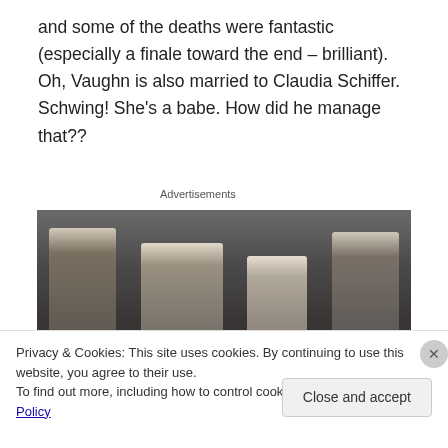and some of the deaths were fantastic (especially a finale toward the end – brilliant). Oh, Vaughn is also married to Claudia Schiffer. Schwing! She's a babe. How did he manage that??
Advertisements
[Figure (photo): Movie scene with four people in formal suits standing in a row against a dark background with glass display cases]
Privacy & Cookies: This site uses cookies. By continuing to use this website, you agree to their use.
To find out more, including how to control cookies, see here: Cookie Policy
Close and accept